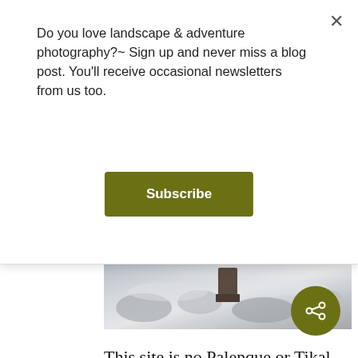Do you love landscape & adventure photography?~ Sign up and never miss a blog post. You'll receive occasional newsletters from us too.
[Figure (other): A rocky, snowy landscape scene with stones and a dark rectangular object visible among rocks and ice/snow.]
This site is no Palenque or Tikal. Restoration is extremely limited and the vast majority of this former Maya superpower is beneath thick soil and even thicker forest. In some ways it's an intangible experience, but the imagination is a powerful tool. Standing on top of La